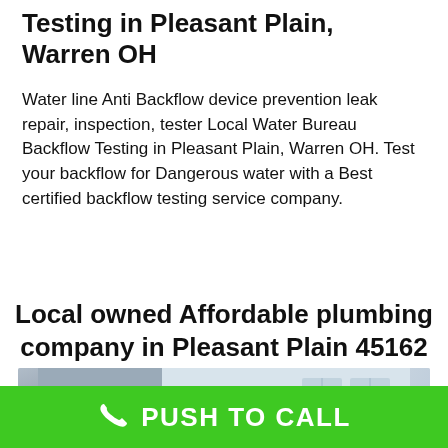Testing in Pleasant Plain, Warren OH
Water line Anti Backflow device prevention leak repair, inspection, tester Local Water Bureau Backflow Testing in Pleasant Plain, Warren OH. Test your backflow for Dangerous water with a Best certified backflow testing service company.
Local owned Affordable plumbing company in Pleasant Plain 45162
[Figure (photo): Smiling male plumber in navy uniform and cap on the left; text reading EASY AFFORDABLE on the right side with a residential background]
PUSH TO CALL